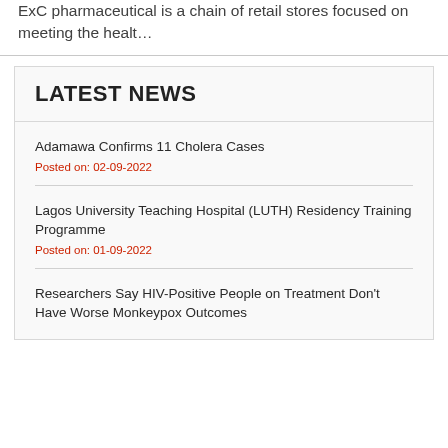ExC pharmaceutical is a chain of retail stores focused on meeting the healt…
LATEST NEWS
Adamawa Confirms 11 Cholera Cases
Posted on: 02-09-2022
Lagos University Teaching Hospital (LUTH) Residency Training Programme
Posted on: 01-09-2022
Researchers Say HIV-Positive People on Treatment Don't Have Worse Monkeypox Outcomes